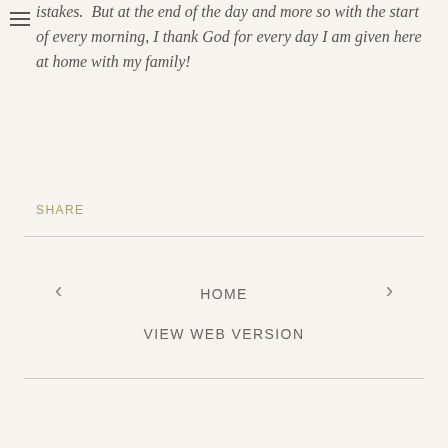istakes.  But at the end of the day and more so with the start of every morning, I thank God for every day I am given here at home with my family!
SHARE
HOME
VIEW WEB VERSION